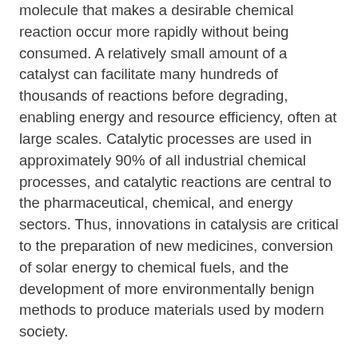molecule that makes a desirable chemical reaction occur more rapidly without being consumed. A relatively small amount of a catalyst can facilitate many hundreds of thousands of reactions before degrading, enabling energy and resource efficiency, often at large scales. Catalytic processes are used in approximately 90% of all industrial chemical processes, and catalytic reactions are central to the pharmaceutical, chemical, and energy sectors. Thus, innovations in catalysis are critical to the preparation of new medicines, conversion of solar energy to chemical fuels, and the development of more environmentally benign methods to produce materials used by modern society.
Faculty in the Department of Chemistry are pursuing a broad array of fundamental advancements in the field of catalysis. Research efforts span homogeneous and